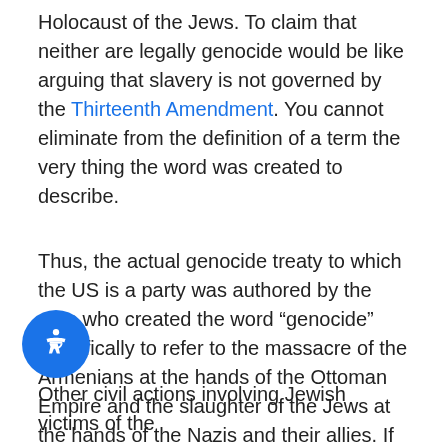Holocaust of the Jews. To claim that neither are legally genocide would be like arguing that slavery is not governed by the Thirteenth Amendment. You cannot eliminate from the definition of a term the very thing the word was created to describe.
Thus, the actual genocide treaty to which the US is a party was authored by the man who created the word “genocide” specifically to refer to the massacre of the Armenians at the hands of the Ottoman Empire and the slaughter of the Jews at the hands of the Nazis and their allies. If a perpetrator of those massacres were still alive and present in California they could be criminally prosecuted in California state courts. What then of potential civil consequences arising out of such legally acknowledged genocide?
Other civil actions involving Jewish victims of the